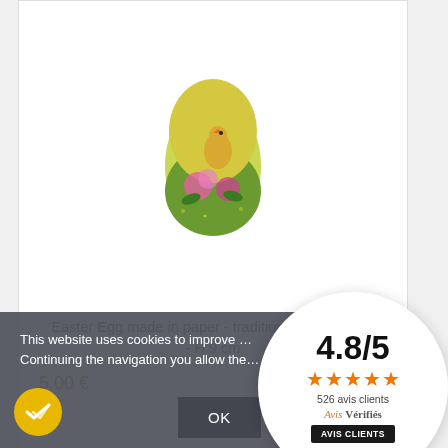[Figure (photo): Decorative Easter Egg made in paper with colorful traditional design, green/yellow/pink floral motifs, egg-shaped, approx 9cm height]
Easter Egg made in paper - traditional design # 11 - H 9 cm
5.00 €
[Figure (infographic): Rating widget showing 4.8/5 score with 4 orange stars, 526 avis clients, Avis Vérifiés logo and AVIS CLIENTS button]
This website uses cookies to improve ... Continuing the navigation you allow the...
OK